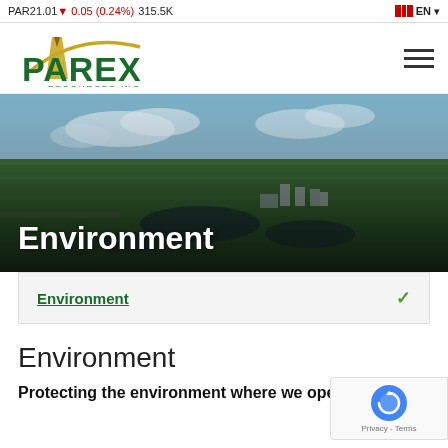PAR 21.01 ▼ 0.05 (0.24%) 315.5K  EN
[Figure (logo): Parex Resources Inc. logo with oil derrick and arc graphic in gold and green]
[Figure (photo): Aerial photograph of oil and gas facility surrounded by green agricultural fields and water bodies]
Environment
Environment
Environment
Protecting the environment where we operate